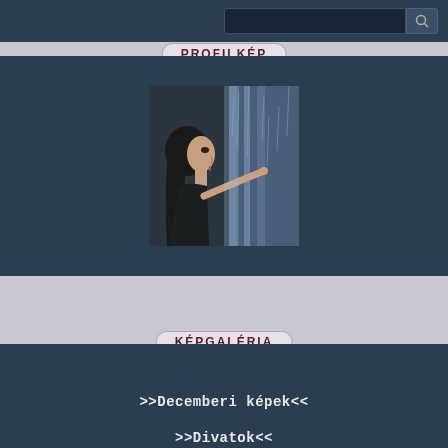[Figure (screenshot): Top navigation bar with search input and search button icon]
PROFILKÉP
[Figure (photo): Profile photo: a dark-haired woman in profile view pointing at a rainy window]
KÉPGALÉRIA
>>Decemberi képek<<
>>Divatok<<
>>Férfi képek<<